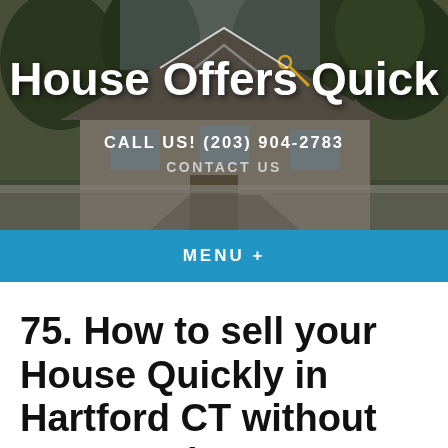[Figure (screenshot): House Offers Quick website header with photo of a house in background, logo text, phone number, and contact link]
CALL US! (203) 904-2783
CONTACT US
House Offers Quick
MENU +
75. How to sell your House Quickly in Hartford CT without any Hassle?